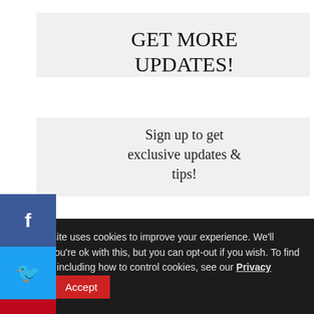GET MORE UPDATES!
Sign up to get exclusive updates & tips!
Enter your email address..
SIGN UP NOW!
[Figure (infographic): Social media share buttons: Facebook (blue), Twitter (light blue), Pinterest (red), with share count of 83 SHARES below]
COMMENTS
This website uses cookies to improve your experience. We'll assume you're ok with this, but you can opt-out if you wish. To find out more, including how to control cookies, see our Privacy Policy.
Accept